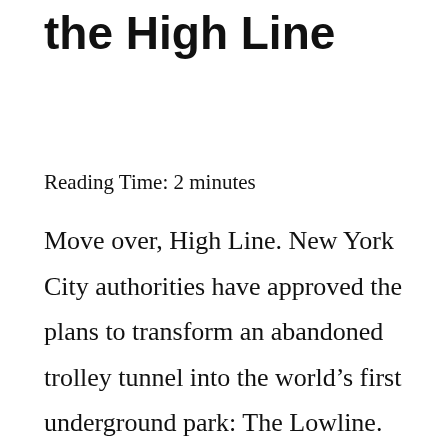the High Line
Reading Time: 2 minutes
Move over, High Line. New York City authorities have approved the plans to transform an abandoned trolley tunnel into the world’s first underground park: The Lowline. The subterranean park will be built on a former trolley turnaround point, which has been disused since 1948. It will feature sunken areas flooded with natural light and